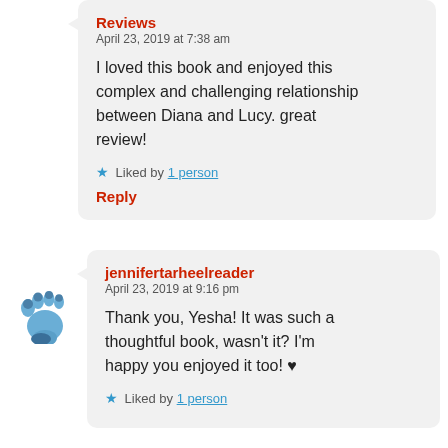Reviews
April 23, 2019 at 7:38 am

I loved this book and enjoyed this complex and challenging relationship between Diana and Lucy. great review!

★ Liked by 1 person

Reply
[Figure (illustration): Baby footprint icon in blue, used as avatar for jennifertarheelreader]
jennifertarheelreader
April 23, 2019 at 9:16 pm

Thank you, Yesha! It was such a thoughtful book, wasn't it? I'm happy you enjoyed it too! ♥

★ Liked by 1 person